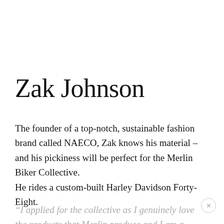Zak Johnson
The founder of a top-notch, sustainable fashion brand called NAECO, Zak knows his material – and his pickiness will be perfect for the Merlin Biker Collective.
He rides a custom-built Harley Davidson Forty-Eight.
“I applied for the collective as I genuinely love the products that Merlin produce and I am a customer,”